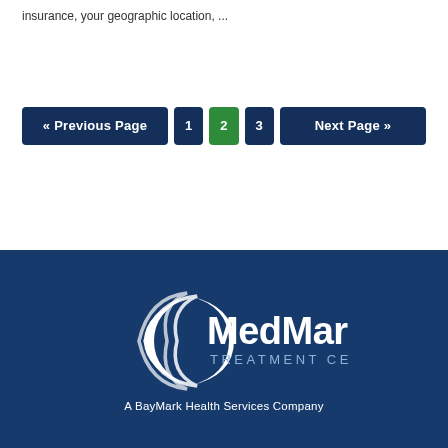insurance, your geographic location, ...
« Previous Page  1  2  3  Next Page »
[Figure (logo): MedMark Treatment Centers logo in white on dark blue background, with crescent/swoosh icon]
A BayMark Health Services Company